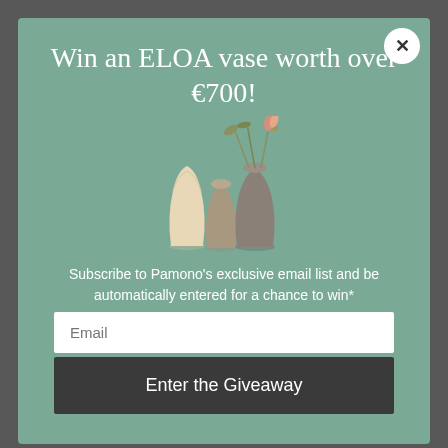Win an ELOA vase worth over €700!
[Figure (illustration): Three ELOA glass vases of different sizes and colors with dried flowers/plant stems arranged in the tallest vase]
Subscribe to Pamono's exclusive email list and be automatically entered for a chance to win*
Email
Enter the Giveaway